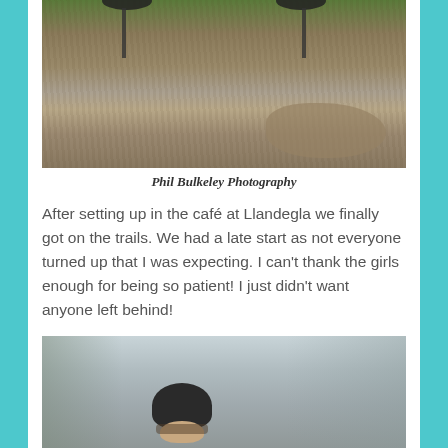[Figure (photo): Mountain bikes on a muddy trail with a large puddle, taken from a low angle showing the wheels and forks above a waterlogged dirt path]
Phil Bulkeley Photography
After setting up in the café at Llandegla we finally got on the trails. We had a late start as not everyone turned up that I was expecting. I can't thank the girls enough for being so patient! I just didn't want anyone left behind!
[Figure (photo): A cyclist wearing a dark helmet and sunglasses photographed outdoors with bare winter trees in the background]